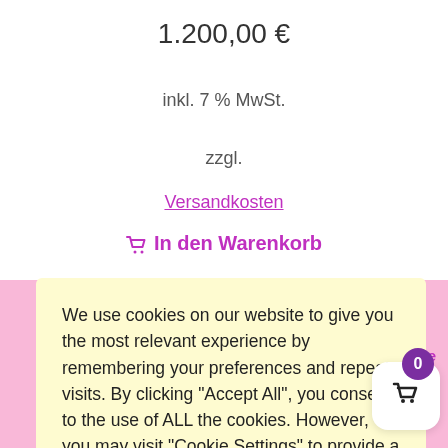1.200,00 €
inkl. 7 % MwSt.
zzgl.
Versandkosten
🛒 In den Warenkorb
We use cookies on our website to give you the most relevant experience by remembering your preferences and repeat visits. By clicking "Accept All", you consent to the use of ALL the cookies. However, you may visit "Cookie Settings" to provide a controlled consent.
Cookie Settings
Accept All
Preise
ufsbelehr